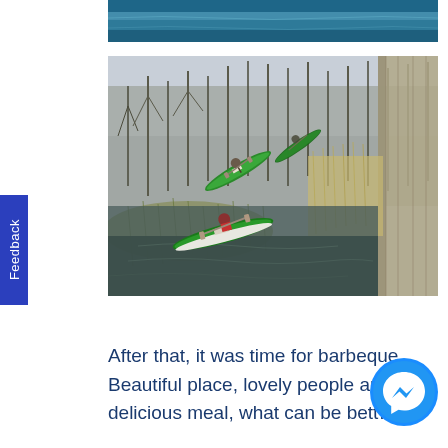[Figure (photo): Partial view of a blue water/river scene, cropped at the top of the page.]
[Figure (photo): Aerial view from a bridge of two green kayaks/canoes paddling along a narrow river or stream, surrounded by bare winter trees and dry reed banks.]
After that, it was time for barbeque. Beautiful place, lovely people and delicious meal, what can be bett…
[Figure (other): Facebook Messenger chat button (blue circle with white lightning bolt/messenger icon) in the bottom-right corner.]